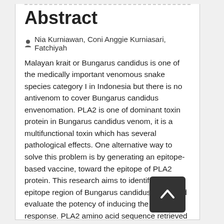Abstract
Nia Kurniawan, Coni Anggie Kurniasari, Fatchiyah
Malayan krait or Bungarus candidus is one of the medically important venomous snake species category I in Indonesia but there is no antivenom to cover Bungarus candidus envenomation. PLA2 is one of dominant toxin protein in Bungarus candidus venom, it is a multifunctional toxin which has several pathological effects. One alternative way to solve this problem is by generating an epitope-based vaccine, toward the epitope of PLA2 protein. This research aims to identify the epitope region of Bungarus candidus PLA2 and evaluate the potency of inducing the immune response. PLA2 amino acid sequence retrieved from NCBI (accession number: BAD06270.1), then the T cell epitope (MHC-I and MHC-II) are predicted from this sequence using the IEDB tools. We selected the prediction results with IC50 value below 200 nM. The prediction result was then analyzed by epitope conservancy, immunogenicity, and population coverage